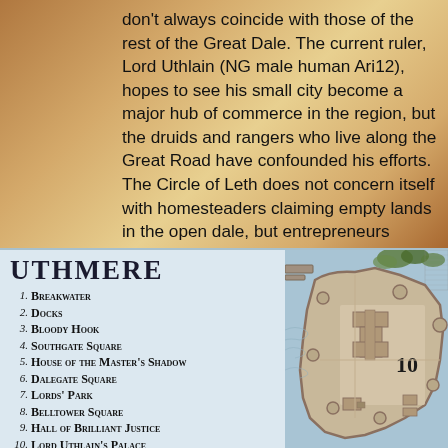don't always coincide with those of the rest of the Great Dale. The current ruler, Lord Uthlain (NG male human Ari12), hopes to see his small city become a major hub of commerce in the region, but the druids and rangers who live along the Great Road have confounded his efforts. The Circle of Leth does not concern itself with homesteaders claiming empty lands in the open dale, but entrepreneurs hoping to rake furs, timber, and other riches from the forests find the druids quick to discourage all but the least intrusive of such activities.
[Figure (map): Map of Uthmere city with legend listing 10 numbered locations: 1. Breakwater, 2. Docks, 3. Bloody Hook, 4. Southgate Square, 5. House of the Master's Shadow, 6. Dalegate Square, 7. Lords' Park, 8. Belltower Square, 9. Hall of Brilliant Justice, 10. Lord Uthlain's Palace. The right side shows a partial city map with walls, buildings, and the number 10 marking a location.]